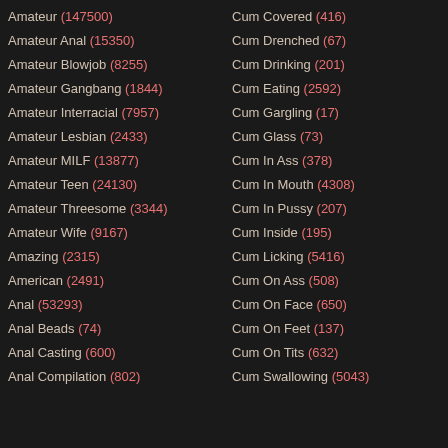Amateur (147500)
Amateur Anal (15350)
Amateur Blowjob (8255)
Amateur Gangbang (1844)
Amateur Interracial (7957)
Amateur Lesbian (2433)
Amateur MILF (13877)
Amateur Teen (24130)
Amateur Threesome (3344)
Amateur Wife (9167)
Amazing (2315)
American (2491)
Anal (53293)
Anal Beads (74)
Anal Casting (600)
Anal Compilation (802)
Cum Covered (416)
Cum Drenched (67)
Cum Drinking (201)
Cum Eating (2592)
Cum Gargling (17)
Cum Glass (73)
Cum In Ass (378)
Cum In Mouth (4308)
Cum In Pussy (207)
Cum Inside (195)
Cum Licking (5416)
Cum On Ass (508)
Cum On Face (650)
Cum On Feet (137)
Cum On Tits (632)
Cum Swallowing (5043)